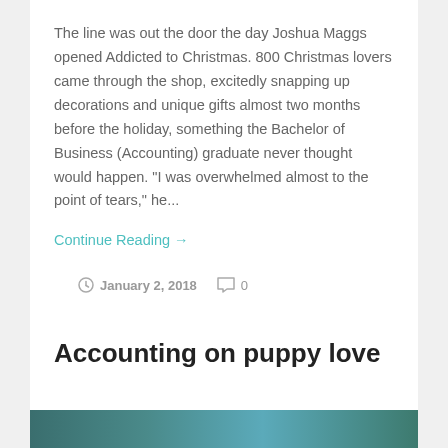The line was out the door the day Joshua Maggs opened Addicted to Christmas. 800 Christmas lovers came through the shop, excitedly snapping up decorations and unique gifts almost two months before the holiday, something the Bachelor of Business (Accounting) graduate never thought would happen. “I was overwhelmed almost to the point of tears,” he...
Continue Reading →
January 2, 2018  0
Accounting on puppy love